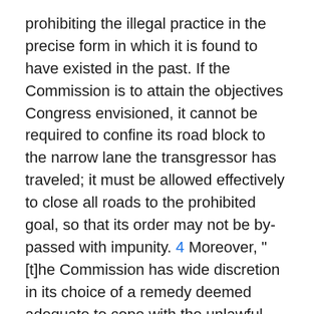prohibiting the illegal practice in the precise form in which it is found to have existed in the past. If the Commission is to attain the objectives Congress envisioned, it cannot be required to confine its road block to the narrow lane the transgressor has traveled; it must be allowed effectively to close all roads to the prohibited goal, so that its order may not be by-passed with impunity. 4 Moreover, "[t]he Commission has wide discretion in its choice of a remedy deemed adequate to cope with the unlawful practices" disclosed. Jacob Siegel Co. v. Federal Trade Comm'n, 327 U.S. 608, 611 (1946). Congress placed the primary responsibility for fashioning such orders upon the Commission, and Congress expected the Commission to exercise a special competence in formulating remedies to deal with problems in the general sphere of competitive practices. 5 Therefore we have said that "the courts will not interfere except where the remedy selected has no reasonable relation to the unlawful practices found to exist."